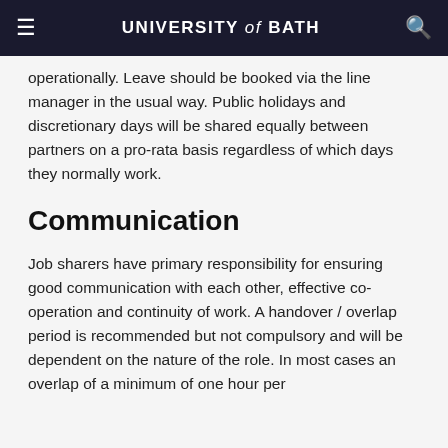UNIVERSITY of BATH
operationally. Leave should be booked via the line manager in the usual way. Public holidays and discretionary days will be shared equally between partners on a pro-rata basis regardless of which days they normally work.
Communication
Job sharers have primary responsibility for ensuring good communication with each other, effective co-operation and continuity of work. A handover / overlap period is recommended but not compulsory and will be dependent on the nature of the role. In most cases an overlap of a minimum of one hour per